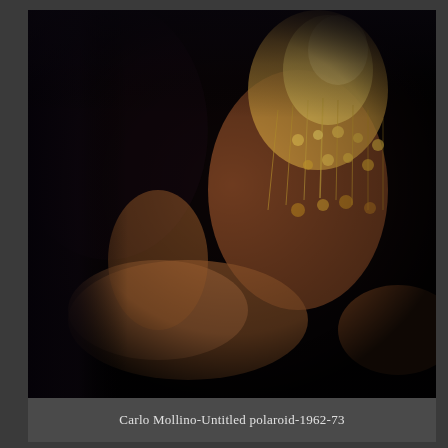[Figure (photo): A photograph of a person kneeling or sitting cross-legged, wearing a heavily beaded and fringed golden costume with circular sequins and dangling chain/bead fringe. The background is very dark, nearly black with subtle dark blue-grey tones. The image is warm-toned, with the costume glowing with golden light. The person's face and top of head are cropped out of frame. The image has a vintage, slightly soft-focus quality consistent with a Polaroid photograph from the 1960s-70s.]
Carlo Mollino-Untitled polaroid-1962-73